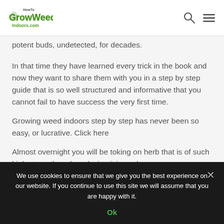HowTo GrowWeed Indoors.com [logo with search and menu icons]
potent buds, undetected, for decades.
In that time they have learned every trick in the book and now they want to share them with you in a step by step guide that is so well structured and informative that you cannot fail to have success the very first time.
Growing weed indoors step by step has never been so easy, or lucrative. Click here
Almost overnight you will be toking on herb that is of such high strength and producing it in such
We use cookies to ensure that we give you the best experience on our website. If you continue to use this site we will assume that you are happy with it.
Ok